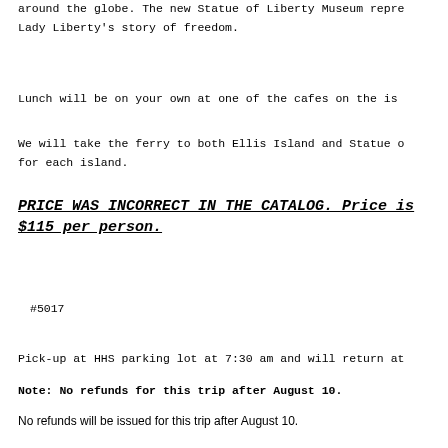around the globe. The new Statue of Liberty Museum repre... Lady Liberty's story of freedom.
Lunch will be on your own at one of the cafes on the is...
We will take the ferry to both Ellis Island and Statue o... for each island.
PRICE WAS INCORRECT IN THE CATALOG. Price is $115 per person.
#5017
Pick-up at HHS parking lot at 7:30 am and will return at...
Note: No refunds for this trip after August 10.
No refunds will be issued for this trip after August 10.